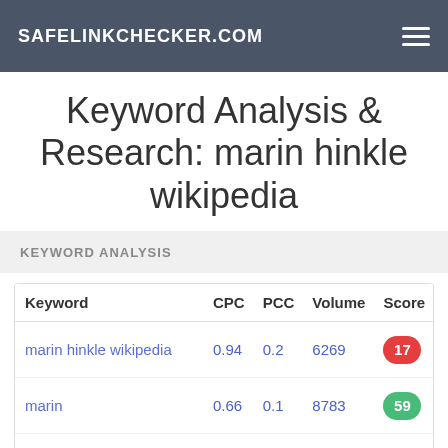SAFELINKCHECKER.COM
Keyword Analysis & Research: marin hinkle wikipedia
KEYWORD ANALYSIS
| Keyword | CPC | PCC | Volume | Score | Le |
| --- | --- | --- | --- | --- | --- |
| marin hinkle wikipedia | 0.94 | 0.2 | 6269 | 17 |  |
| marin | 0.66 | 0.1 | 8783 | 59 |  |
| hinkle | 0.9 | 0.1 | 8559 | 93 |  |